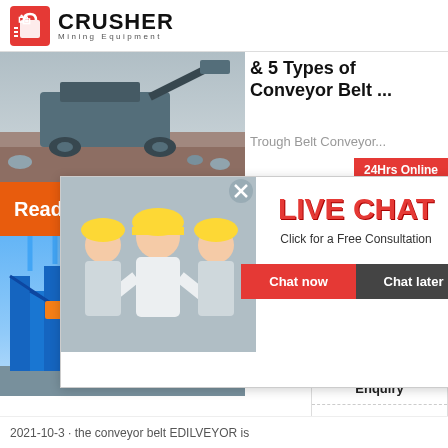CRUSHER Mining Equipment
[Figure (photo): Crusher/mining equipment machine in field with rocks]
& 5 Types of Conveyor Belt ...
Trough Belt Conveyor...
24Hrs Online
Read M...
[Figure (photo): Live chat overlay with engineers in hard hats and customer service agent with headset. LIVE CHAT - Click for a Free Consultation. Chat now / Chat later buttons.]
[Figure (photo): Industrial facility with blue steel structures]
portab conveyo system constru Edilvey
Need questions & suggestion? Chat Now
Enquiry
limingjlmofen@sina.com
2021-10-3 · the conveyor belt EDILVEYOR is